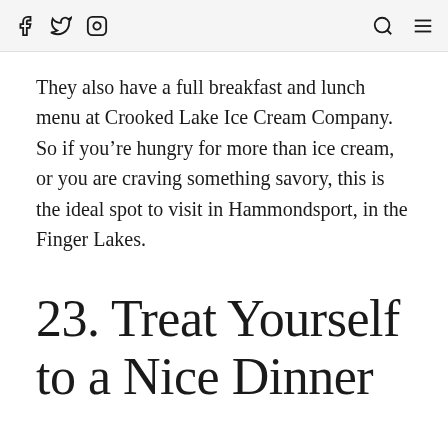[Facebook icon] [Twitter icon] [Instagram icon] [Search icon] [Menu icon]
They also have a full breakfast and lunch menu at Crooked Lake Ice Cream Company. So if you're hungry for more than ice cream, or you are craving something savory, this is the ideal spot to visit in Hammondsport, in the Finger Lakes.
23. Treat Yourself to a Nice Dinner
A must in any location for us is to treat ourselves to at least one “fancy” meal during